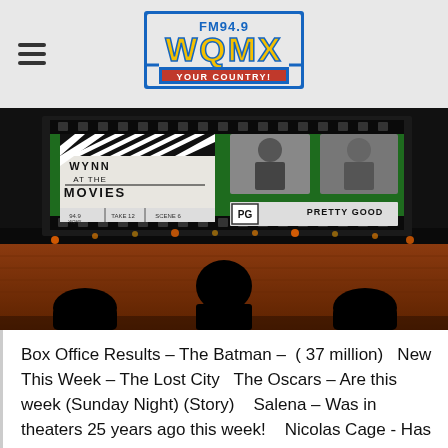FM94.9 WQMX YOUR COUNTRY!
[Figure (photo): Wynn at the Movies promotional image showing a movie theater silhouette scene with a clapperboard reading 'Wynn at the Movies', two photos of the host with headphones, and a PG rating 'Pretty Good' box.]
Box Office Results - The Batman - ( 37 million)  New This Week - The Lost City  The Oscars – Are this week (Sunday Night) (Story)  Salena – Was in theaters 25 years ago this week!  Nicolas Cage - Has taken